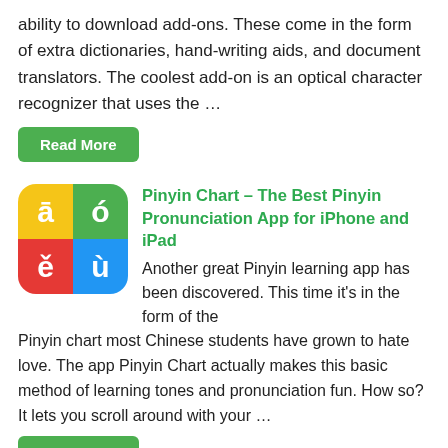ability to download add-ons. These come in the form of extra dictionaries, hand-writing aids, and document translators. The coolest add-on is an optical character recognizer that uses the …
Read More
[Figure (logo): Pinyin Chart app icon with four colored quadrants showing pinyin characters: ā (yellow), ó (green), ě (red), ù (blue)]
Pinyin Chart – The Best Pinyin Pronunciation App for iPhone and iPad
Another great Pinyin learning app has been discovered. This time it's in the form of the Pinyin chart most Chinese students have grown to hate love. The app Pinyin Chart actually makes this basic method of learning tones and pronunciation fun. How so? It lets you scroll around with your …
Read More